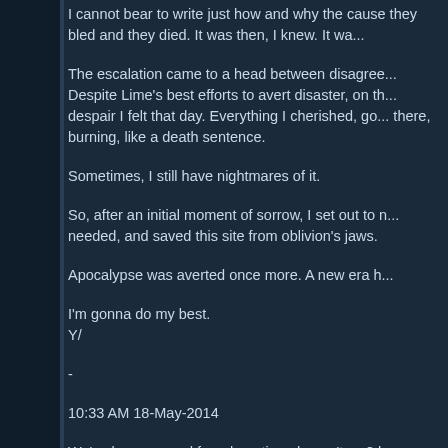I cannot bear to write just how and why the cause they bled and they died. It was then, I knew. It wa...
The escalation came to a head between disagree... Despite Lime's best efforts to avert disaster, on th... despair I felt that day. Everything I cherished, go... there, burning, like a death sentence.
Sometimes, I still have nightmares of it.
So, after an initial moment of sorrow, I set out to... needed, and saved this site from oblivion's jaws.
Apocalypse was averted once more. A new era h...
I'm gonna do my best.
Y/
-
10:33 AM 18-May-2014
We've been around for a long time, haven't we? h...
AusISP FH, Forkheads.tk, forkheads.biz, forkhead... tdforums.iswoi.org, otfomyinternets.forumatio...